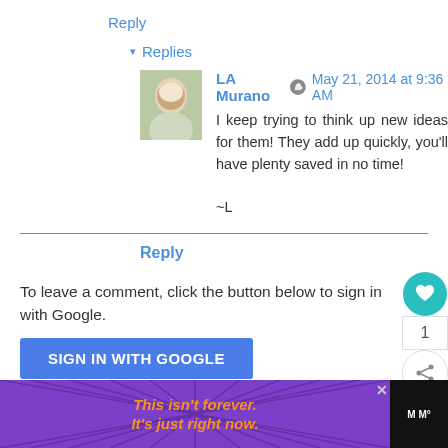Reply
▾ Replies
LA Murano  May 21, 2014 at 9:36 AM
I keep trying to think up new ideas for them! They add up quickly, you'll have plenty saved in no time!

~L
Reply
To leave a comment, click the button below to sign in with Google.
SIGN IN WITH GOOGLE
[Figure (screenshot): Advertisement banner: purple background with starburst lines, orange italic text 'This isn't forever. It's just right now.' with close button and logo]
[Figure (other): Floating action buttons: teal heart button, count '1', and share button]